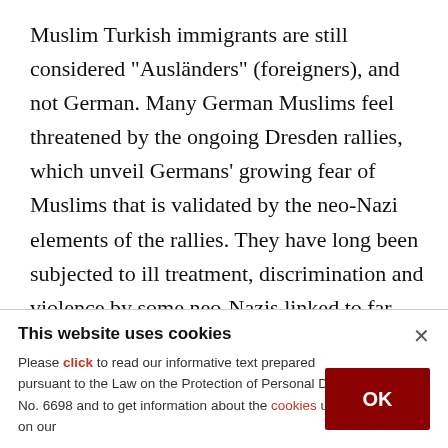Muslim Turkish immigrants are still considered "Ausländers" (foreigners), and not German. Many German Muslims feel threatened by the ongoing Dresden rallies, which unveil Germans' growing fear of Muslims that is validated by the neo-Nazi elements of the rallies. They have long been subjected to ill treatment, discrimination and violence by some neo-Nazis linked to far-right groups. Germany is home to three million Muslims
This website uses cookies
Please click to read our informative text prepared pursuant to the Law on the Protection of Personal Data No. 6698 and to get information about the cookies used on our